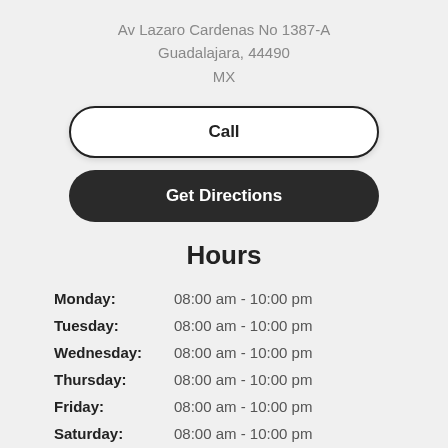Av Lazaro Cardenas No 1387-A
Guadalajara, 44490
MX
Call
Get Directions
Hours
Monday: 08:00 am - 10:00 pm
Tuesday: 08:00 am - 10:00 pm
Wednesday: 08:00 am - 10:00 pm
Thursday: 08:00 am - 10:00 pm
Friday: 08:00 am - 10:00 pm
Saturday: 08:00 am - 10:00 pm